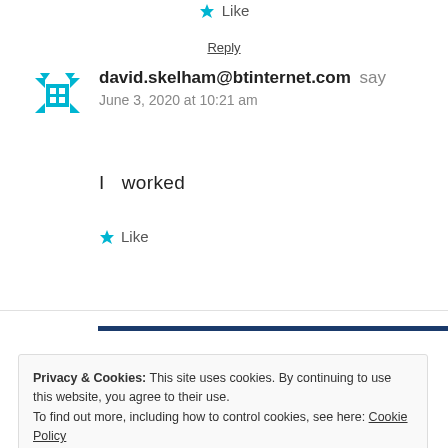Like
Reply
david.skelham@btinternet.com says
June 3, 2020 at 10:21 am
I  worked
Like
Privacy & Cookies: This site uses cookies. By continuing to use this website, you agree to their use.
To find out more, including how to control cookies, see here: Cookie Policy
Close and accept